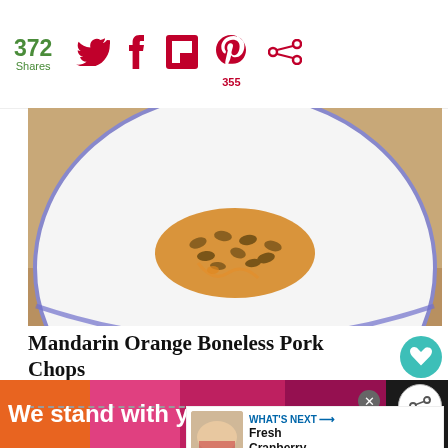372 Shares | social share icons (Twitter, Facebook, Flipboard, Pinterest 355, other)
[Figure (photo): Close-up of mandarin orange boneless pork chops dish on a white plate, garnished with nuts and orange glaze, on a wooden surface]
Mandarin Orange Boneless Pork Chops
Yield: 6    Author: Claudia Lamascolo
WHAT'S NEXT → Fresh Cranberry...
PREP TIME: 15 M  |  COOK TIME: 12 M  |  TOTAL TIME: 27 M
We stand with you.